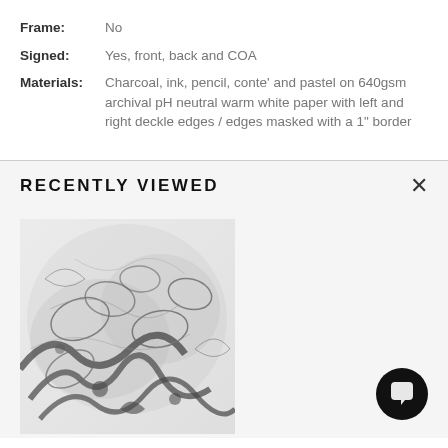Frame: No
Signed: Yes, front, back and COA
Materials: Charcoal, ink, pencil, conte' and pastel on 640gsm archival pH neutral warm white paper with left and right deckle edges / edges masked with a 1" border
RECENTLY VIEWED
[Figure (photo): Black and white artwork showing abstract floral/botanical forms rendered in charcoal, ink, and mixed media on white paper]
[Figure (other): Chat/message button icon - black circular button with white speech bubble icon]